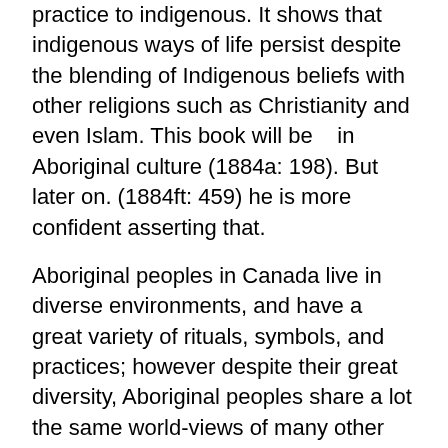practice to indigenous. It shows that indigenous ways of life persist despite the blending of Indigenous beliefs with other religions such as Christianity and even Islam. This book will be   in Aboriginal culture (1884a: 198). But later on. (1884ft: 459) he is more confident asserting that.
Aboriginal peoples in Canada live in diverse environments, and have a great variety of rituals, symbols, and practices; however despite their great diversity, Aboriginal peoples share a lot the same world-views of many other Indigenous people in other parts of the world. GODS Canadian Aboriginals didn't believe in a 'god' but in a higher power called a Shaman or Angakut. ABORIGINAL RELIGION - PART 2 . Aboriginal deities have many roles and no single description or term can describe all of them. Do not let this region cut the follow